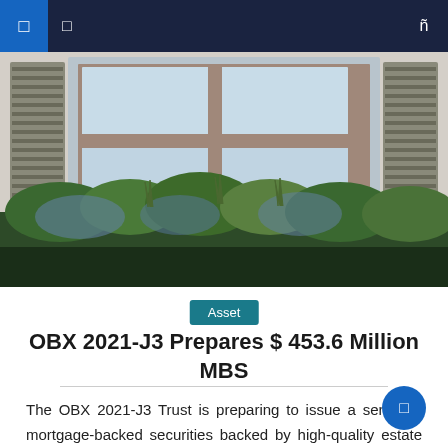Navigation bar with menu and search icons
[Figure (photo): Photograph of a residential building window with decorative flower boxes containing lush green and blue-toned plants, shutters on either side, viewed from outside]
Asset
OBX 2021-J3 Prepares $ 453.6 Million MBS
The OBX 2021-J3 Trust is preparing to issue a series of mortgage-backed securities backed by high-quality estate loans to qualified borrowers, in a deal expected to